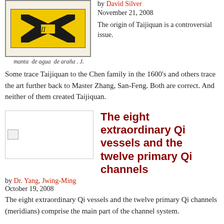[Figure (illustration): Historical illustration with yellow background showing black figures/symbols, with handwritten caption 'manta de agua de araña. J.']
by David Silver
November 21, 2008
The origin of Taijiquan is a controversial issue. Some trace Taijiquan to the Chen family in the 1600's and others trace the art further back to Master Zhang, San-Feng. Both are correct. And neither of them created Taijiquan.
[Figure (illustration): Broken/missing image placeholder]
The eight extraordinary Qi vessels and the twelve primary Qi channels
by Dr. Yang, Jwing-Ming
October 19, 2008
The eight extraordinary Qi vessels and the twelve primary Qi channels (meridians) comprise the main part of the channel system.
[Figure (photo): Black and white photo of two people practicing martial arts]
What is Xingyiquan?
by Dr. Yang, Jwing-Ming